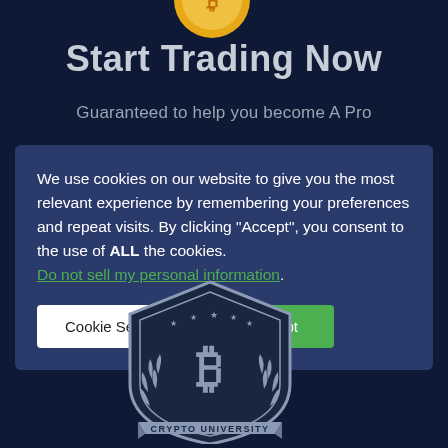[Figure (illustration): Partially visible coin/token icon at top center of dark blue background]
Start Trading Now
Guaranteed to help you become A Pro
We use cookies on our website to give you the most relevant experience by remembering your preferences and repeat visits. By clicking “Accept”, you consent to the use of ALL the cookies. Do not sell my personal information.
[Figure (logo): Crypto University badge logo with Bitcoin B symbol and laurel wreath, dark shield shape, text CRYPTO UNIVERSITY at bottom]